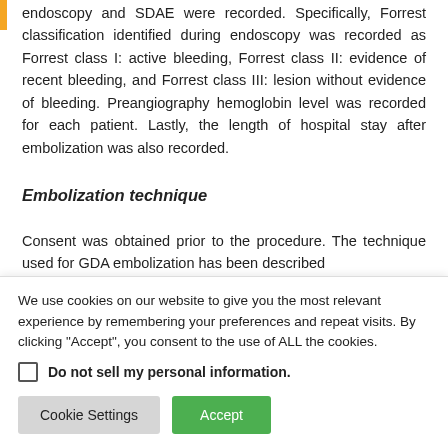endoscopy and SDAE were recorded. Specifically, Forrest classification identified during endoscopy was recorded as Forrest class I: active bleeding, Forrest class II: evidence of recent bleeding, and Forrest class III: lesion without evidence of bleeding. Preangiography hemoglobin level was recorded for each patient. Lastly, the length of hospital stay after embolization was also recorded.
Embolization technique
Consent was obtained prior to the procedure. The technique used for GDA embolization has been described
We use cookies on our website to give you the most relevant experience by remembering your preferences and repeat visits. By clicking "Accept", you consent to the use of ALL the cookies.
Do not sell my personal information.